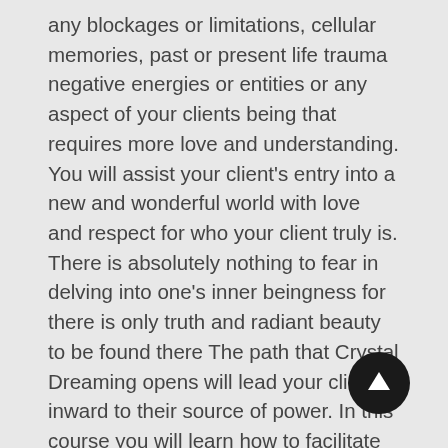any blockages or limitations, cellular memories, past or present life trauma negative energies or entities or any aspect of your clients being that requires more love and understanding. You will assist your client's entry into a new and wonderful world with love and respect for who your client truly is. There is absolutely nothing to fear in delving into one's inner beingness for there is only truth and radiant beauty to be found there The path that Crystal Dreaming opens will lead your client inward to their source of power. In this course you will learn how to facilitate this transformational journey others safely, with ease and grace.